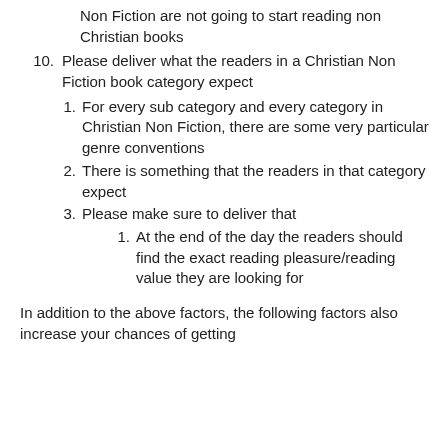Non Fiction are not going to start reading non Christian books
10. Please deliver what the readers in a Christian Non Fiction book category expect
1. For every sub category and every category in Christian Non Fiction, there are some very particular genre conventions
2. There is something that the readers in that category expect
3. Please make sure to deliver that
1. At the end of the day the readers should find the exact reading pleasure/reading value they are looking for
In addition to the above factors, the following factors also increase your chances of getting